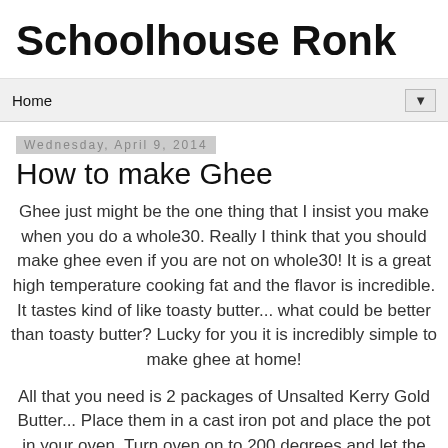Schoolhouse Ronk
Home ▼
Wednesday, April 9, 2014
How to make Ghee
Ghee just might be the one thing that I insist you make when you do a whole30. Really I think that you should make ghee even if you are not on whole30! It is a great high temperature cooking fat and the flavor is incredible. It tastes kind of like toasty butter... what could be better than toasty butter? Lucky for you it is incredibly simple to make ghee at home!
All that you need is 2 packages of Unsalted Kerry Gold Butter... Place them in a cast iron pot and place the pot in your oven. Turn oven on to 200 degrees and let the ghee cook undisturbed for 2 hours.